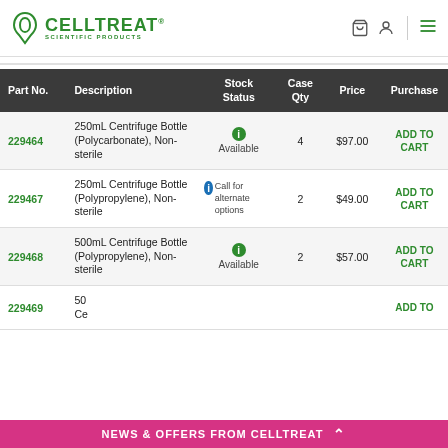CELLTREAT SCIENTIFIC PRODUCTS
| Part No. | Description | Stock Status | Case Qty | Price | Purchase |
| --- | --- | --- | --- | --- | --- |
| 229464 | 250mL Centrifuge Bottle (Polycarbonate), Non-sterile | Available | 4 | $97.00 | ADD TO CART |
| 229467 | 250mL Centrifuge Bottle (Polypropylene), Non-sterile | Call for alternate options | 2 | $49.00 | ADD TO CART |
| 229468 | 500mL Centrifuge Bottle (Polypropylene), Non-sterile | Available | 2 | $57.00 | ADD TO CART |
| 229469 | 500mL Ce... |  |  |  | ADD TO |
NEWS & OFFERS FROM CELLTREAT